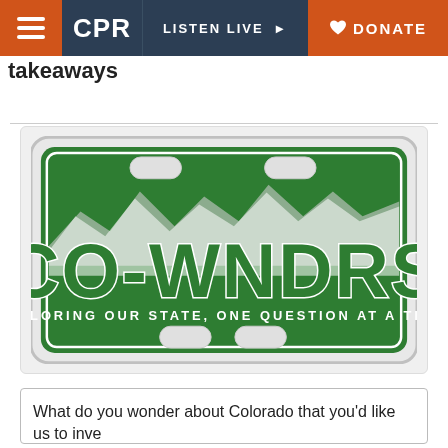[Figure (screenshot): CPR website navigation bar with hamburger menu, CPR logo, LISTEN LIVE button, and DONATE button]
takeaways
[Figure (logo): Colorado license plate graphic reading CO-WNDRS with mountains in background and text EXPLORING OUR STATE, ONE QUESTION AT A TIME.]
What do you wonder about Colorado that you'd like us to inve